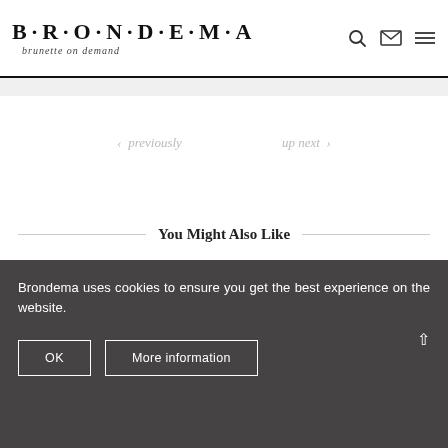BRONDEMA brunette on demand
< previously    up next >
You Might Also Like
Brondema uses cookies to ensure you get the best experience on the website.
OK    More information